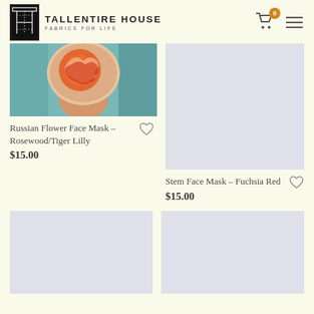TALLENTIRE HOUSE FABRICS FOR LIFE
[Figure (photo): Person wearing a Russian Flower Face Mask in Rosewood/Tiger Lilly pattern, back of head view]
Russian Flower Face Mask – Rosewood/Tiger Lilly
$15.00
[Figure (photo): Stem Face Mask – Fuchsia Red product image placeholder (light gray background)]
Stem Face Mask – Fuchsia Red
$15.00
[Figure (photo): Product image placeholder bottom-left (light gray background)]
[Figure (photo): Product image placeholder bottom-right (light gray background)]